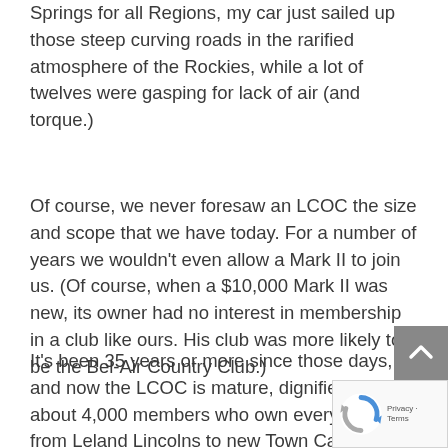Springs for all Regions, my car just sailed up those steep curving roads in the rarified atmosphere of the Rockies, while a lot of twelves were gasping for lack of air (and torque.)
Of course, we never foresaw an LCOC the size and scope that we have today. For a number of years we wouldn't even allow a Mark II to join us. (Of course, when a $10,000 Mark II was new, its owner had no interest in membership in a club like ours. His club was more likely to be the Bel-Air Country Club.)
It's been 35 years or more since those days, and now the LCOC is mature, dignified and has about 4,000 members who own everything from Leland Lincolns to new Town Cars. The Lawtons now have a 1977